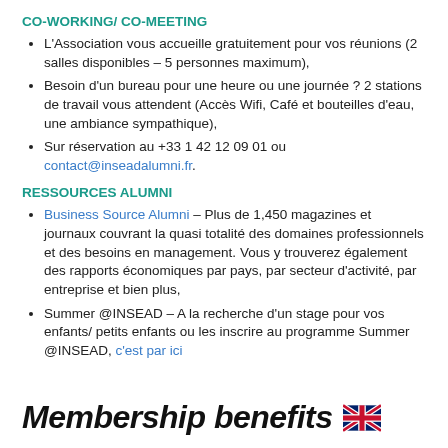CO-WORKING/ CO-MEETING
L'Association vous accueille gratuitement pour vos réunions (2 salles disponibles – 5 personnes maximum),
Besoin d'un bureau pour une heure ou une journée ? 2 stations de travail vous attendent (Accès Wifi, Café et bouteilles d'eau, une ambiance sympathique),
Sur réservation au +33 1 42 12 09 01 ou contact@inseadalumni.fr.
RESSOURCES ALUMNI
Business Source Alumni – Plus de 1,450 magazines et journaux couvrant la quasi totalité des domaines professionnels et des besoins en management. Vous y trouverez également des rapports économiques par pays, par secteur d'activité, par entreprise et bien plus,
Summer @INSEAD – A la recherche d'un stage pour vos enfants/ petits enfants ou les inscrire au programme Summer @INSEAD, c'est par ici
Membership benefits 🇬🇧